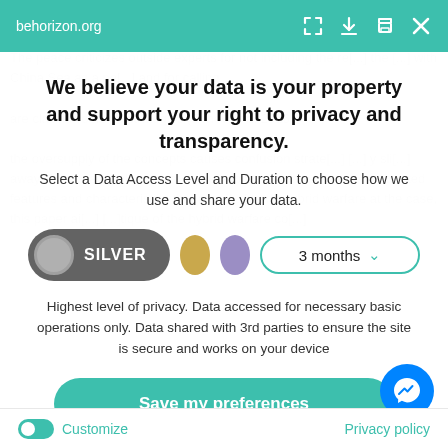behorizon.org
We believe your data is your property and support your right to privacy and transparency.
Select a Data Access Level and Duration to choose how we use and share your data.
SILVER | [gold circle] | [purple circle] | 3 months dropdown
Highest level of privacy. Data accessed for necessary basic operations only. Data shared with 3rd parties to ensure the site is secure and works on your device
Save my preferences
Customize
Privacy policy